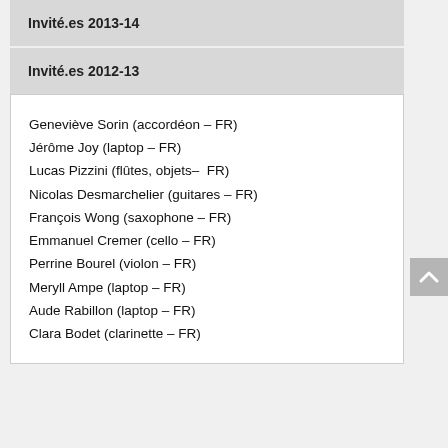Invité.es 2013-14
Invité.es 2012-13
Geneviève Sorin (accordéon – FR)
Jérôme Joy (laptop – FR)
Lucas Pizzini (flûtes, objets–  FR)
Nicolas Desmarchelier (guitares – FR)
François Wong (saxophone – FR)
Emmanuel Cremer (cello – FR)
Perrine Bourel (violon – FR)
Meryll Ampe (laptop – FR)
Aude Rabillon (laptop – FR)
Clara Bodet (clarinette – FR)